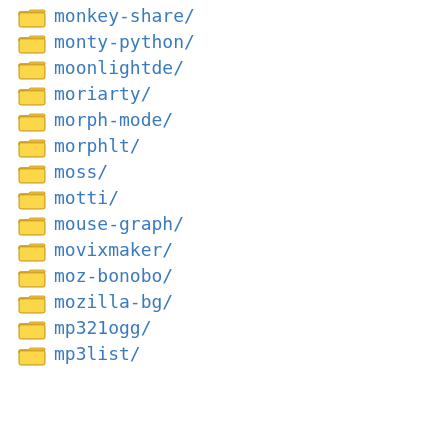monkey-share/
monty-python/
moonlightde/
moriarty/
morph-mode/
morphlt/
moss/
motti/
mouse-graph/
movixmaker/
moz-bonobo/
mozilla-bg/
mp321ogg/
mp3list/